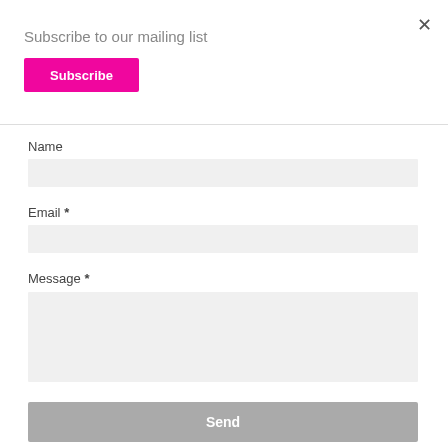×
Subscribe to our mailing list
Subscribe
Name
Email *
Message *
Send